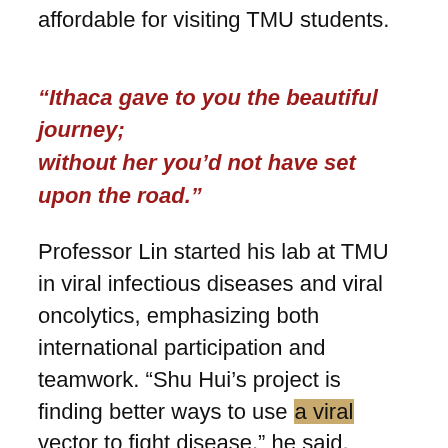affordable for visiting TMU students.
“Ithaca gave to you the beautiful journey; without her you’d not have set upon the road.”
Professor Lin started his lab at TMU in viral infectious diseases and viral oncolytics, emphasizing both international participation and teamwork. “Shu Hui’s project is finding better ways to use a viral vector to fight disease,” he said. “She’s coming up with good ideas.”